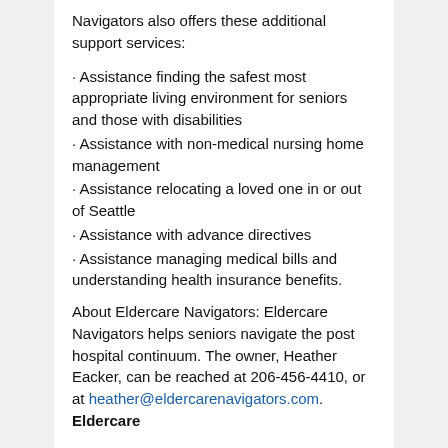Navigators also offers these additional support services:
· Assistance finding the safest most appropriate living environment for seniors and those with disabilities
· Assistance with non-medical nursing home management
· Assistance relocating a loved one in or out of Seattle
· Assistance with advance directives
· Assistance managing medical bills and understanding health insurance benefits.
About Eldercare Navigators: Eldercare Navigators helps seniors navigate the post hospital continuum. The owner, Heather Eacker, can be reached at 206-456-4410, or at heather@eldercarenavigators.com. Eldercare